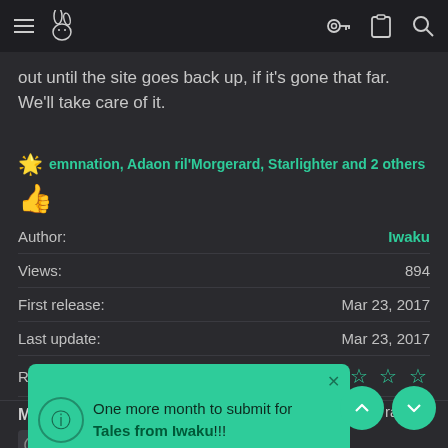Navigation bar with menu icon, logo, key icon, clipboard icon, search icon
out until the site goes back up, if it's gone that far. We'll take care of it.
🌟 emnnation, Adaon ril'Morgerard, Starlighter and 2 others 👍
| Label | Value |
| --- | --- |
| Author: | Iwaku |
| Views: | 894 |
| First release: | Mar 23, 2017 |
| Last update: | Mar 23, 2017 |
| Rating: | ☆ ☆ ☆ ☆ ☆ |
|  | 1 ratings |
More resources from Iwaku
Staff of Iwaku
[Figure (screenshot): Green popup notification saying 'One more month to submit for Tales from Iwaku!!!' with info icon and close button]
Iwaku's Bills: Where the Money Goes